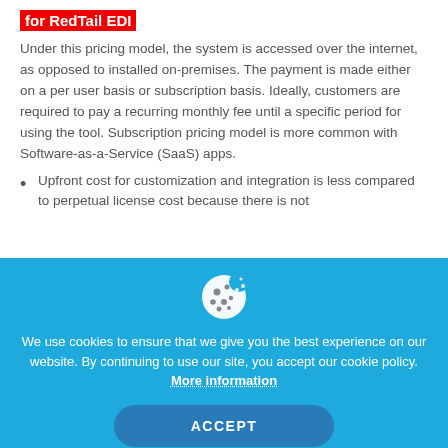for RedTail EDI
Under this pricing model, the system is accessed over the internet, as opposed to installed on-premises. The payment is made either on a per user basis or subscription basis. Ideally, customers are required to pay a recurring monthly fee until a specific period for using the tool. Subscription pricing model is more common with Software-as-a-Service (SaaS) apps.
Upfront cost for customization and integration is less compared to perpetual license cost because there is not
We use cookies to ensure that we give you the best experience on our website. By continuing to use our site, you accept our cookie policy. More information
ACCEPT